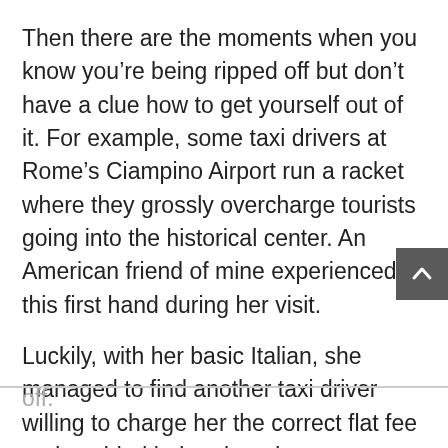Then there are the moments when you know you're being ripped off but don't have a clue how to get yourself out of it. For example, some taxi drivers at Rome's Ciampino Airport run a racket where they grossly overcharge tourists going into the historical center. An American friend of mine experienced this first hand during her visit.
Luckily, with her basic Italian, she managed to find another taxi driver willing to charge her the correct flat fee and avoided being ripped off.